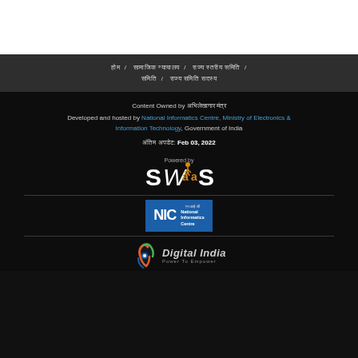होम / सामाजिक न्यायालय / राज्य स्तरीय समिति / समिति / राज्य समिति सदस्य
Content Owned by अभिलेखागार मंत्र
Developed and hosted by National Informatics Centre, Ministry of Electronics & Information Technology, Government of India
अंतिम अपडेट: Feb 03, 2022
[Figure (logo): Powered by SWaaS logo]
[Figure (logo): NIC National Informatics Centre logo - blue rectangle with NIC text and Hindi text एन.आई.सी]
[Figure (logo): Digital India Power To Empower logo with orange/green swirl icon]